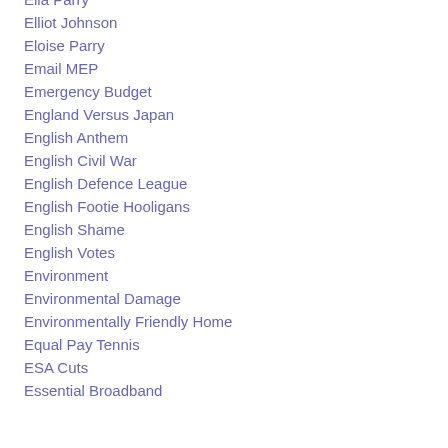Ella Parry
Elliot Johnson
Eloise Parry
Email MEP
Emergency Budget
England Versus Japan
English Anthem
English Civil War
English Defence League
English Footie Hooligans
English Shame
English Votes
Environment
Environmental Damage
Environmentally Friendly Home
Equal Pay Tennis
ESA Cuts
Essential Broadband